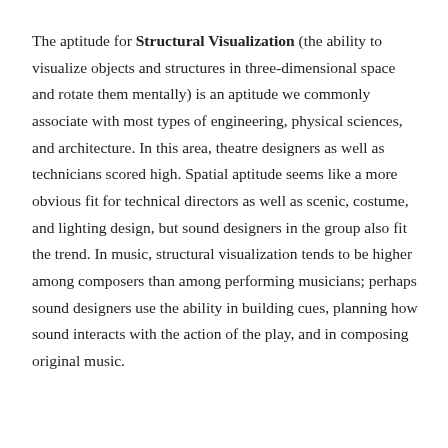The aptitude for Structural Visualization (the ability to visualize objects and structures in three-dimensional space and rotate them mentally) is an aptitude we commonly associate with most types of engineering, physical sciences, and architecture. In this area, theatre designers as well as technicians scored high. Spatial aptitude seems like a more obvious fit for technical directors as well as scenic, costume, and lighting design, but sound designers in the group also fit the trend. In music, structural visualization tends to be higher among composers than among performing musicians; perhaps sound designers use the ability in building cues, planning how sound interacts with the action of the play, and in composing original music.